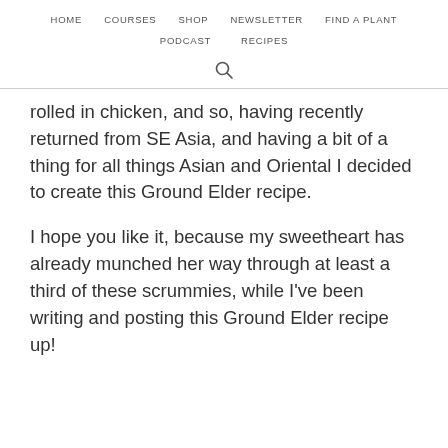HOME  COURSES  SHOP  NEWSLETTER  FIND A PLANT  PODCAST  RECIPES
rolled in chicken, and so, having recently returned from SE Asia, and having a bit of a thing for all things Asian and Oriental I decided to create this Ground Elder recipe.
I hope you like it, because my sweetheart has already munched her way through at least a third of these scrummies, while I've been writing and posting this Ground Elder recipe up!